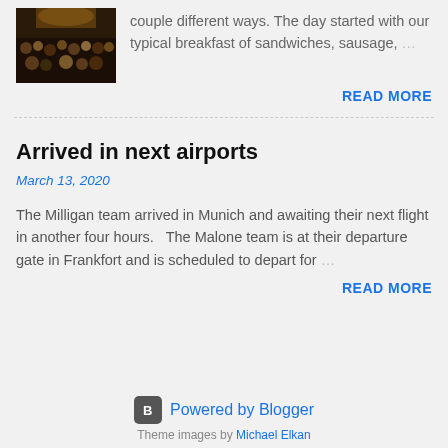[Figure (photo): Group photo thumbnail of multiple people in a dark indoor setting]
couple different ways. The day started with our typical breakfast of sandwiches, sausage, …
READ MORE
Arrived in next airports
March 13, 2020
The Milligan team arrived in Munich and awaiting their next flight in another four hours.   The Malone team is at their departure gate in Frankfort and is scheduled to depart for …
READ MORE
Powered by Blogger
Theme images by Michael Elkan